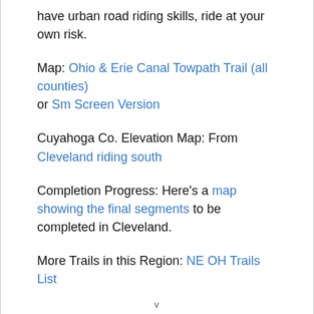have urban road riding skills, ride at your own risk.
Map: Ohio & Erie Canal Towpath Trail (all counties) or Sm Screen Version
Cuyahoga Co. Elevation Map: From Cleveland riding south
Completion Progress: Here's a map showing the final segments to be completed in Cleveland.
More Trails in this Region: NE OH Trails List
v